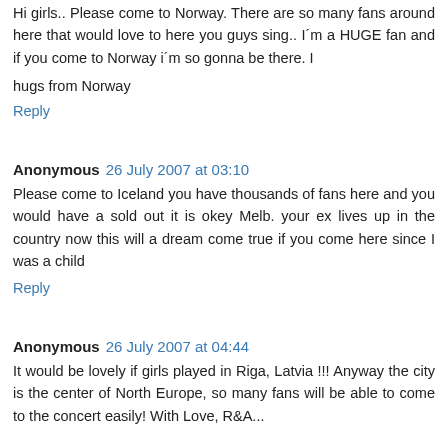Hi girls.. Please come to Norway. There are so many fans around here that would love to here you guys sing.. I´m a HUGE fan and if you come to Norway i´m so gonna be there. I
hugs from Norway
Reply
Anonymous 26 July 2007 at 03:10
Please come to Iceland you have thousands of fans here and you would have a sold out it is okey Melb. your ex lives up in the country now this will a dream come true if you come here since I was a child
Reply
Anonymous 26 July 2007 at 04:44
It would be lovely if girls played in Riga, Latvia !!! Anyway the city is the center of North Europe, so many fans will be able to come to the concert easily! With Love, R&A...